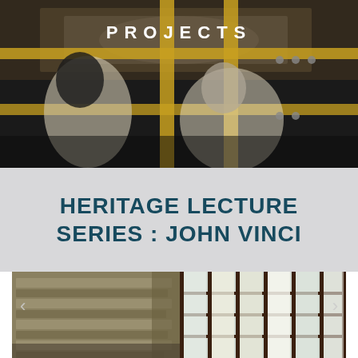[Figure (photo): Two people working on scaffolding near an ornate ceiling, viewed from below. One person in yellow jacket, one in light shirt, with yellow metal scaffolding bars visible.]
PROJECTS
HERITAGE LECTURE SERIES : JOHN VINCI
[Figure (photo): Interior architectural photo showing stone/brick walls and tall multi-pane windows with dark frames. Natural light streaming through windows. A Frank Lloyd Wright style building interior.]